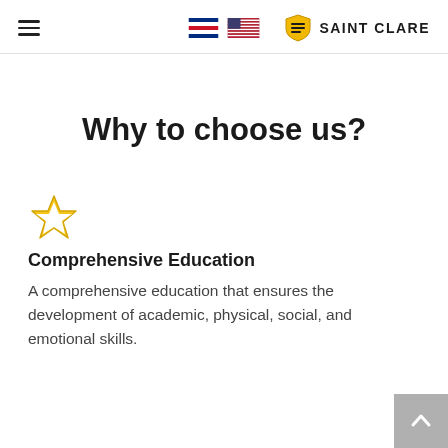SAINT CLARE
Why to choose us?
[Figure (illustration): Gold/yellow outline star icon]
Comprehensive Education
A comprehensive education that ensures the development of academic, physical, social, and emotional skills.